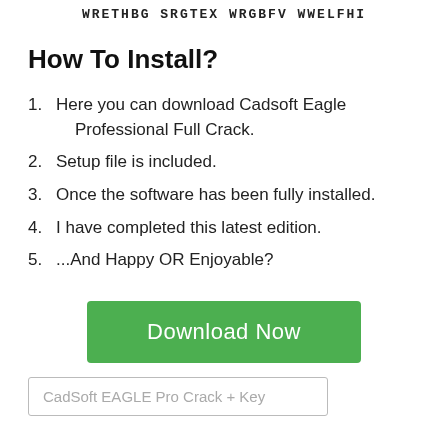WRETHBG SRGTEX WRGBFV WWELFHI
How To Install?
Here you can download Cadsoft Eagle Professional Full Crack.
Setup file is included.
Once the software has been fully installed.
I have completed this latest edition.
...And Happy OR Enjoyable?
[Figure (other): Green Download Now button]
CadSoft EAGLE Pro Crack + Key